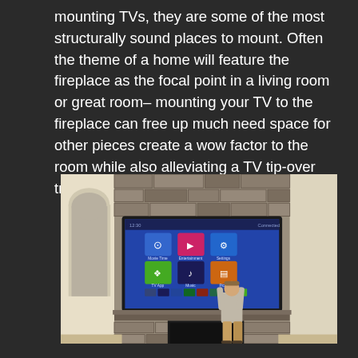mounting TVs, they are some of the most structurally sound places to mount. Often the theme of a home will feature the fireplace as the focal point in a living room or great room– mounting your TV to the fireplace can free up much need space for other pieces create a wow factor to the room while also alleviating a TV tip-over tragedy.
[Figure (photo): A person standing at a stone fireplace with a large flat-screen TV mounted above the mantel, showing a colorful smart TV home screen interface. The room has white walls with arched doorways and the fireplace surround is made of stacked stone.]